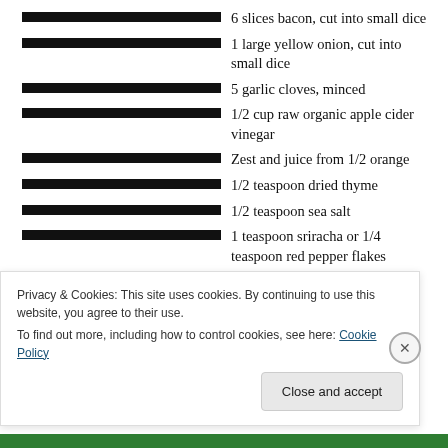6 slices bacon, cut into small dice
1 large yellow onion, cut into small dice
5 garlic cloves, minced
1/2 cup raw organic apple cider vinegar
Zest and juice from 1/2 orange
1/2 teaspoon dried thyme
1/2 teaspoon sea salt
1 teaspoon sriracha or 1/4 teaspoon red pepper flakes
2 tablespoons Swerve sweetener or 1 packet stevia
1. Preheat your smoker to 325 degrees Fahrenheit.
Privacy & Cookies: This site uses cookies. By continuing to use this website, you agree to their use.
To find out more, including how to control cookies, see here: Cookie Policy